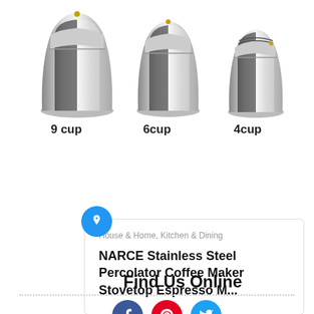[Figure (photo): Three stainless steel stovetop espresso/percolator coffee makers in different sizes: 9 cup (largest, left), 6cup (medium, center), 4cup (smallest, right). All are shiny silver with black handles.]
9 cup   6cup   4cup
[Figure (infographic): A pinned product card with a blue pin/pushpin icon at the top-left corner, showing category 'House & Home, Kitchen & Dining' and product title 'NARCE Stainless Steel Percolator Coffee Maker Stovetop Espresso M...']
House & Home, Kitchen & Dining
NARCE Stainless Steel Percolator Coffee Maker Stovetop Espresso M...
Find Us Online
[Figure (illustration): Three social media icon circles partially visible at the bottom: Facebook (blue), Pinterest (red), Twitter (light blue)]